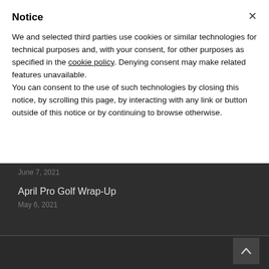Notice
We and selected third parties use cookies or similar technologies for technical purposes and, with your consent, for other purposes as specified in the cookie policy. Denying consent may make related features unavailable.
You can consent to the use of such technologies by closing this notice, by scrolling this page, by interacting with any link or button outside of this notice or by continuing to browse otherwise.
June 7, 2021
April Pro Golf Wrap-Up
May 6, 2021